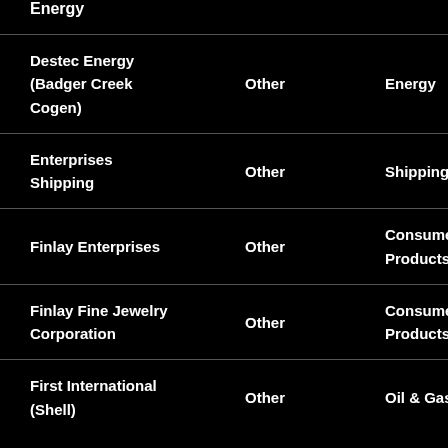| Company | Type | Industry |
| --- | --- | --- |
| Energy |  |  |
| Destec Energy (Badger Creek Cogen) | Other | Energy |
| Enterprises Shipping | Other | Shipping |
| Finlay Enterprises | Other | Consumer Products |
| Finlay Fine Jewelry Corporation | Other | Consumer Products |
| First International (Shell) | Other | Oil & Gas |